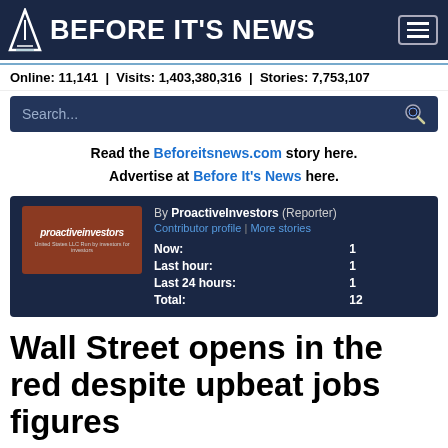BEFORE IT'S NEWS
Online: 11,141 | Visits: 1,403,380,316 | Stories: 7,753,107
Search...
Read the Beforeitsnews.com story here. Advertise at Before It's News here.
[Figure (infographic): Contributor info box with ProactiveInvestors logo and stats: Now:1, Last hour:1, Last 24 hours:1, Total:12]
Wall Street opens in the red despite upbeat jobs figures
Thursday, June 3, 2021 9:41